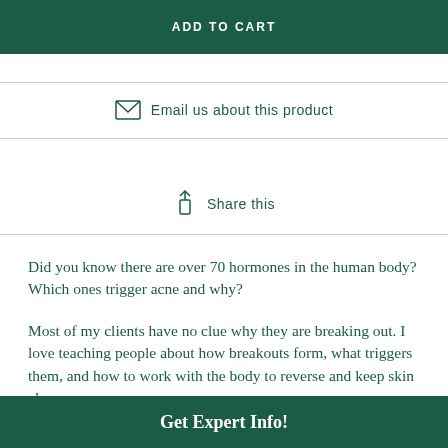ADD TO CART
Email us about this product
Share this
Did you know there are over 70 hormones in the human body? Which ones trigger acne and why?
Most of my clients have no clue why they are breaking out. I love teaching people about how breakouts form, what triggers them, and how to work with the body to reverse and keep skin clear.
Get Expert Info!